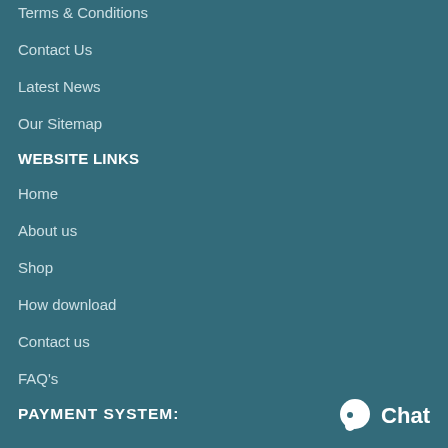Terms & Conditions
Contact Us
Latest News
Our Sitemap
WEBSITE LINKS
Home
About us
Shop
How download
Contact us
FAQ's
PAYMENT SYSTEM:
[Figure (other): Chat button with speech bubble icon and 'Chat' text in white on teal background, bottom right corner]